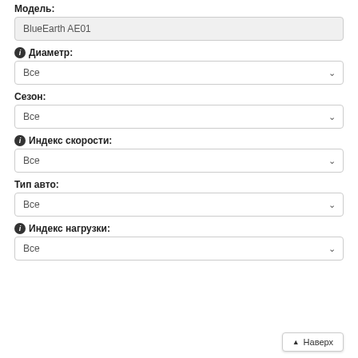Модель:
BlueEarth AE01
ⓘ Диаметр:
Все
Сезон:
Все
ⓘ Индекс скорости:
Все
Тип авто:
Все
ⓘ Индекс нагрузки:
Все
▲ Наверх